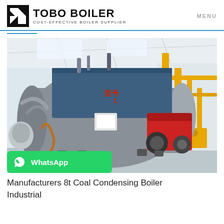TOBO BOILER — COST-EFFECTIVE BOILER SUPPLIER | MENU
[Figure (photo): Industrial boiler installation in a factory setting. A large gray cylindrical boiler with a red burner unit is shown in the foreground with yellow piping structures visible to the right. Pipes, metal structures, and bright skylights are visible in the background.]
Manufacturers 8t Coal Condensing Boiler Industrial